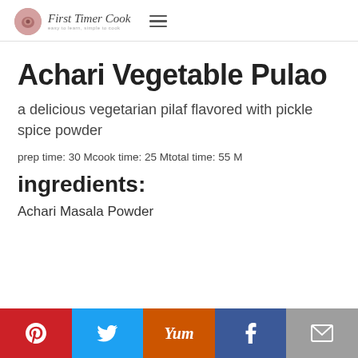First Timer Cook
Achari Vegetable Pulao
a delicious vegetarian pilaf flavored with pickle spice powder
prep time: 30 Mcook time: 25 Mtotal time: 55 M
ingredients:
Achari Masala Powder